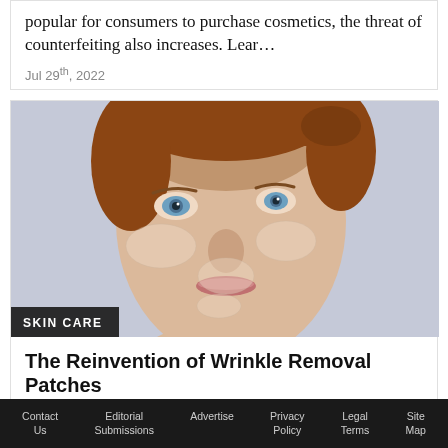popular for consumers to purchase cosmetics, the threat of counterfeiting also increases. Lear…
Jul 29th, 2022
[Figure (photo): Close-up photo of a woman with light skin and auburn hair pulled back, wearing transparent wrinkle removal patches on her cheeks and around her nose and mouth area, looking upward. Light blue/lavender background.]
SKIN CARE
The Reinvention of Wrinkle Removal Patches
Contact Us   Editorial Submissions   Advertise   Privacy Policy   Legal Terms   Site Map